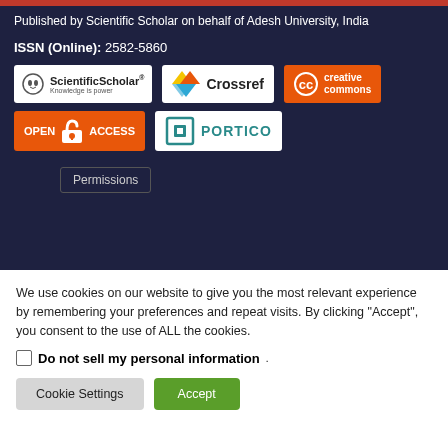Published by Scientific Scholar on behalf of Adesh University, India
ISSN (Online): 2582-5860
[Figure (logo): Scientific Scholar logo - white background with owl icon and text 'ScientificScholar Knowledge is power']
[Figure (logo): Crossref logo - white background with colored triangles and Crossref text]
[Figure (logo): Creative Commons logo - orange background with CC icon and 'creative commons' text in white]
[Figure (logo): Open Access logo - orange background with open lock icon and 'OPEN ACCESS' text]
[Figure (logo): PORTICO logo - white background with teal square icon and PORTICO text]
Permissions
We use cookies on our website to give you the most relevant experience by remembering your preferences and repeat visits. By clicking "Accept", you consent to the use of ALL the cookies.
Do not sell my personal information
Cookie Settings
Accept